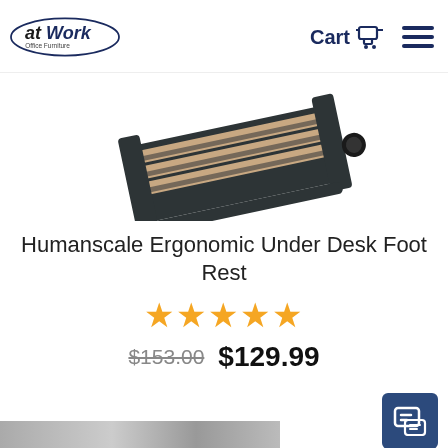[Figure (logo): atWork Office Furniture logo — oval shape with blue outline, text 'atWork' in large bold letters and 'Office Furniture' below in smaller text]
[Figure (photo): Humanscale ergonomic under desk foot rest product photo — wooden slatted platform with dark metal frame and adjustment knob, angled view on white background]
Humanscale Ergonomic Under Desk Foot Rest
[Figure (other): Five orange/gold star rating icons]
$153.00  $129.99
[Figure (screenshot): Bottom strip showing partial product images, and a dark blue chat/messaging button in lower right corner]